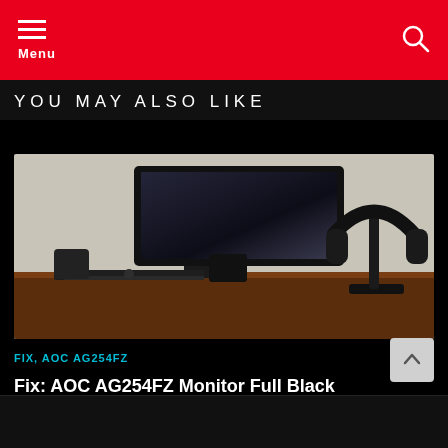Menu
YOU MAY ALSO LIKE
[Figure (photo): A dark monitor on a desk with a closed laptop and headphones on a stand, on a wooden desk against a light wall.]
FIX, AOC AG254FZ
Fix: AOC AG254FZ Monitor Full Black Screen